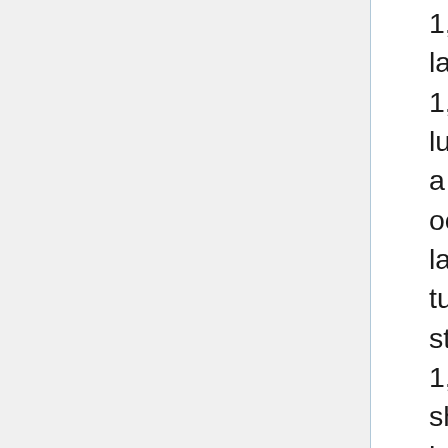1,Plateaus (10'-500' across) like islands in a lake of mist 1,Field of mist (visibility 10') 1,Cave 1,Field of jagged osmium 1,Plain of spongy, lurid moss 1,Ruins of an ancient garden built on a plinth of stone 1,Cave containing naturally-occurring nuclear fission reactor (underground lake, with vents to surface) 1,Goblin battlefield-turned-graveyard. Rows of crudely-carved statues of overweight maggots 1,Field of fungi 1,Field of shriekers 1,Field of fungi with shriekers mixed in 1,Field of fungi with hallucinogenic fungi mixed in 1,Protean creature slowly turning from dead giant to moss 1,Slab of flesh--result of medusa who turned the demon a stone fortress was made from being killed 1,Megadactyl/megadragon corpse 1,Megasussurus 1,Misshaping